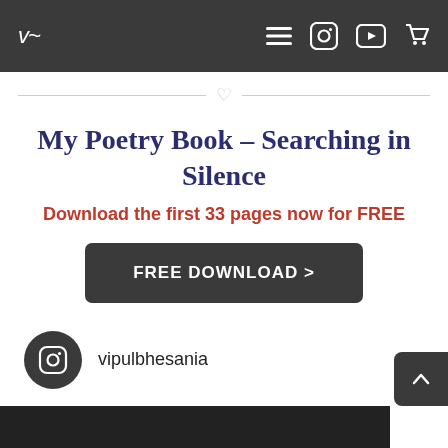Navigation bar with logo, menu, Instagram, YouTube, and cart icons
My Poetry Book – Searching in Silence
Download the first 33 pages now for FREE
FREE DOWNLOAD >
vipulbhesania